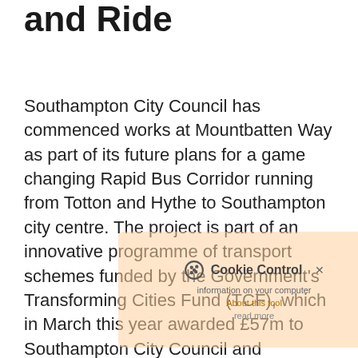and Ride
Southampton City Council has commenced works at Mountbatten Way as part of its future plans for a game changing Rapid Bus Corridor running from Totton and Hythe to Southampton city centre. The project is part of an innovative programme of transport schemes funded by the Government's Transforming Cities Fund (TCF), which in March this year awarded £57m to Southampton City Council and Hampshire County Council following a successful joint bid to the Department for Transport.
Delivered in partnership with Hampshire County Council, the Rapid Bus Corridor will connect people